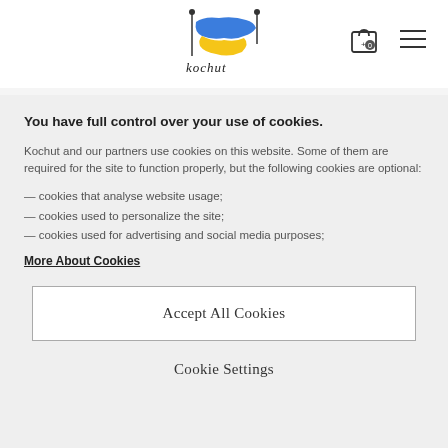[Figure (logo): Kochut brand logo with Ukraine map silhouette in blue and yellow, with decorative needle/pin elements and stylized 'kochut' text]
You have full control over your use of cookies.
Kochut and our partners use cookies on this website. Some of them are required for the site to function properly, but the following cookies are optional:
— cookies that analyse website usage;
— cookies used to personalize the site;
— cookies used for advertising and social media purposes;
More About Cookies
Accept All Cookies
Cookie Settings